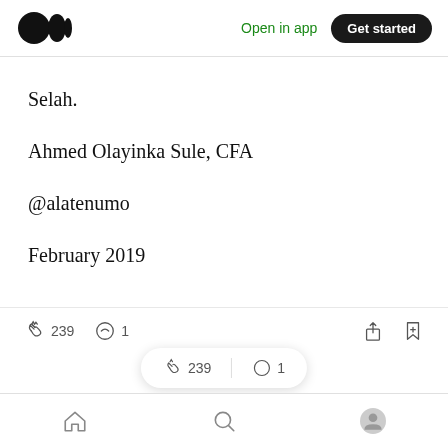Medium app header with logo, Open in app, Get started
Selah.
Ahmed Olayinka Sule, CFA
@alatenumo
February 2019
👏 239  💬 1  [share] [bookmark+]  floating bar: 👏 239 | 💬 1  bottom nav: home, search, profile